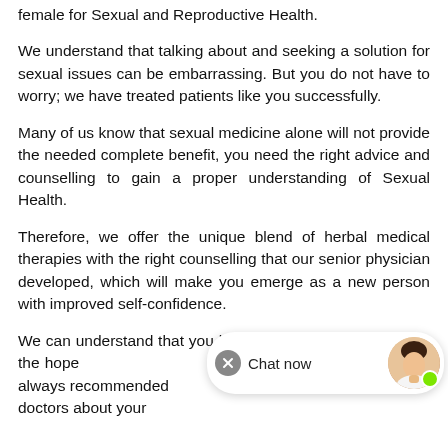female for Sexual and Reproductive Health.
We understand that talking about and seeking a solution for sexual issues can be embarrassing. But you do not have to worry; we have treated patients like you successfully.
Many of us know that sexual medicine alone will not provide the needed complete benefit, you need the right advice and counselling to gain a proper understanding of Sexual Health.
Therefore, we offer the unique blend of herbal medical therapies with the right counselling that our senior physician developed, which will make you emerge as a new person with improved self-confidence.
We can understand that you have come to our website with the hope [Chat now widget] solution. Hence it is always recommended to share every detail with our doctors about your